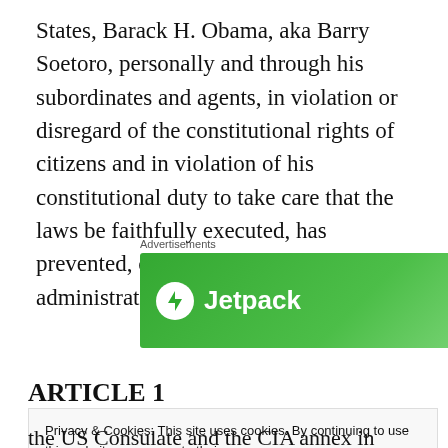States, Barack H. Obama, aka Barry Soetoro, personally and through his subordinates and agents, in violation or disregard of the constitutional rights of citizens and in violation of his constitutional duty to take care that the laws be faithfully executed, has prevented, obstructed, and impeded the administration of justice, in that:
[Figure (screenshot): Jetpack advertisement banner with green background, Jetpack logo and text, and 'Back up your site' button. Labeled 'Advertisements' above.]
ARTICLE 1
Privacy & Cookies: This site uses cookies. By continuing to use this website, you agree to their use.
To find out more, including how to control cookies, see here: Cookie Policy
the US Consulate and the CIA annex in Benghazi, (2)